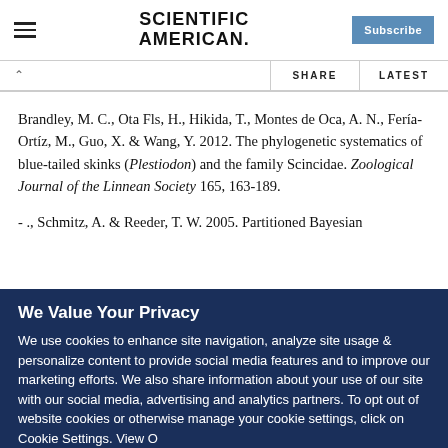Scientific American — Subscribe
Brandley, M. C., Ota Fls, H., Hikida, T., Montes de Oca, A. N., Fería-Ortíz, M., Guo, X. & Wang, Y. 2012. The phylogenetic systematics of blue-tailed skinks (Plestiodon) and the family Scincidae. Zoological Journal of the Linnean Society 165, 163-189.
- ., Schmitz, A. & Reeder, T. W. 2005. Partitioned Bayesian
We Value Your Privacy
We use cookies to enhance site navigation, analyze site usage & personalize content to provide social media features and to improve our marketing efforts. We also share information about your use of our site with our social media, advertising and analytics partners. To opt out of website cookies or otherwise manage your cookie settings, click on Cookie Settings. View O...